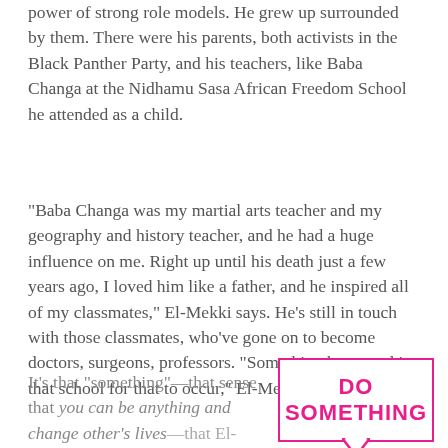power of strong role models. He grew up surrounded by them. There were his parents, both activists in the Black Panther Party, and his teachers, like Baba Changa at the Nidhamu Sasa African Freedom School he attended as a child.
“Baba Changa was my martial arts teacher and my geography and history teacher, and he had a huge influence on me. Right up until his death just a few years ago, I loved him like a father, and he inspired all of my classmates,” El-Mekki says. He’s still in touch with those classmates, who’ve gone on to become doctors, surgeons, professors. “Something happened in that school for that to occur,” El-Mekki notes.
It’s that “something”—that sense that you can be anything and change other’s lives—that El-Mekki has
[Figure (other): Pull quote box with pink border reading 'DO SOMETHING' in bold pink text, with a downward pointing arrow at the bottom]